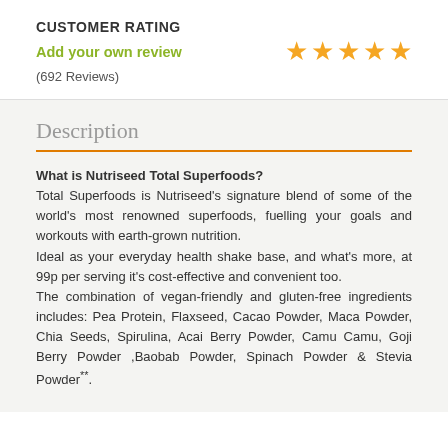CUSTOMER RATING
Add your own review
[Figure (other): Five orange/gold star rating icons]
(692 Reviews)
Description
What is Nutriseed Total Superfoods?
Total Superfoods is Nutriseed's signature blend of some of the world's most renowned superfoods, fuelling your goals and workouts with earth-grown nutrition. Ideal as your everyday health shake base, and what's more, at 99p per serving it's cost-effective and convenient too. The combination of vegan-friendly and gluten-free ingredients includes: Pea Protein, Flaxseed, Cacao Powder, Maca Powder, Chia Seeds, Spirulina, Acai Berry Powder, Camu Camu, Goji Berry Powder ,Baobab Powder, Spinach Powder & Stevia Powder**.